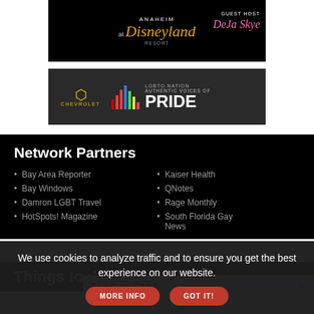[Figure (illustration): Advertisement banner for event at Disneyland Anaheim with guest host Deja Skye]
[Figure (illustration): Chevrolet advertisement for LGBTQ Nation Authentic Voices of Pride]
Network Partners
Bay Area Reporter
Bay Windows
Damron LGBT Travel
HotSpots! Magazine
Kaiser Health
QNotes
Rage Monthly
South Florida Gay News
Things to do
ALSO IN CARS
We use cookies to analyze traffic and to ensure you get the best experience on our website.